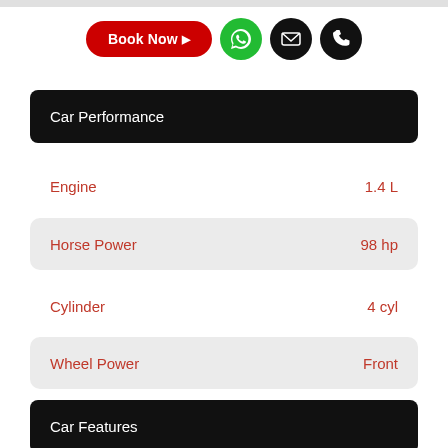[Figure (other): Book Now button (red pill), WhatsApp icon (green circle), email icon (black circle), phone icon (black circle)]
Car Performance
| Attribute | Value |
| --- | --- |
| Engine | 1.4 L |
| Horse Power | 98 hp |
| Cylinder | 4 cyl |
| Wheel Power | Front |
Car Features